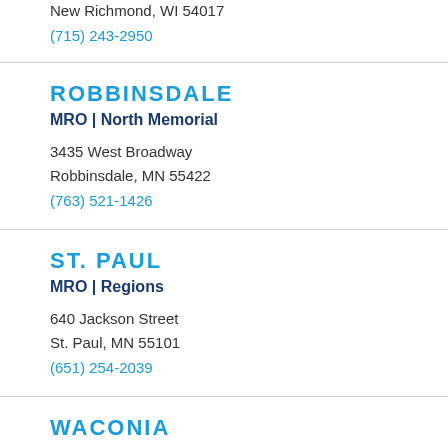New Richmond, WI 54017
(715) 243-2950
ROBBINSDALE
MRO | North Memorial
3435 West Broadway
Robbinsdale, MN 55422
(763) 521-1426
ST. PAUL
MRO | Regions
640 Jackson Street
St. Paul, MN 55101
(651) 254-2039
WACONIA